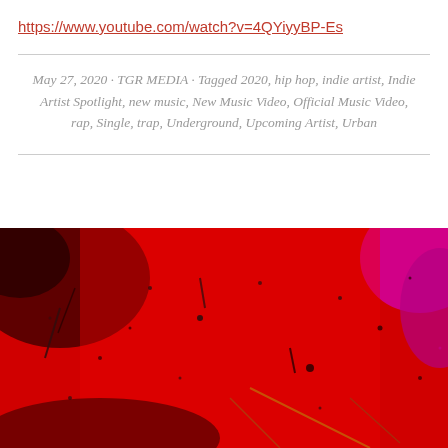https://www.youtube.com/watch?v=4QYiyyBP-Es
May 27, 2020 · TGR MEDIA · Tagged 2020, hip hop, indie artist, Indie Artist Spotlight, new music, New Music Video, Official Music Video, rap, Single, trap, Underground, Upcoming Artist, Urban
[Figure (photo): Abstract red and black paint or ink artwork with scattered dark specks and streaks, with a purple/magenta area visible in the upper right corner. The image is vibrant and textured.]